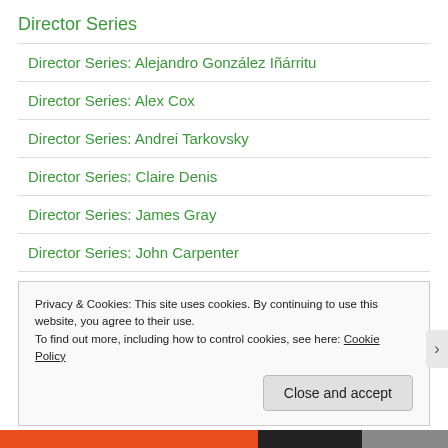Director Series
Director Series: Alejandro González Iñárritu
Director Series: Alex Cox
Director Series: Andrei Tarkovsky
Director Series: Claire Denis
Director Series: James Gray
Director Series: John Carpenter
Director Series: Michael Cimino
Director Series: Penny Marshall
Privacy & Cookies: This site uses cookies. By continuing to use this website, you agree to their use. To find out more, including how to control cookies, see here: Cookie Policy